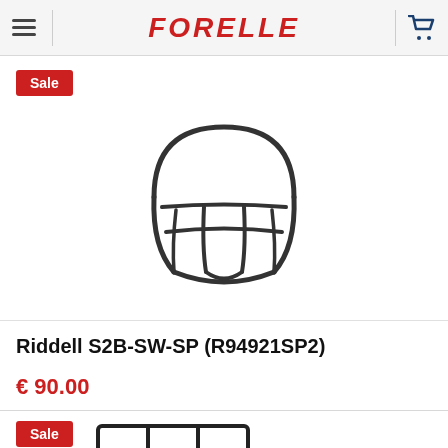FORELLE
[Figure (photo): Riddell S2B-SW-SP football helmet facemask, outline/line drawing style, dark grey wire frame on white background]
Riddell S2B-SW-SP (R94921SP2)
€ 90.00
[Figure (photo): Football helmet facemask product image, partially visible at bottom of page, outline/line drawing style]